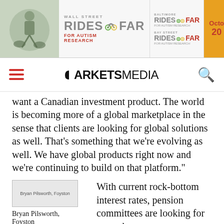[Figure (illustration): Banner advertisement for Wall Street / Baltimore / Bay Street Rides Far for Autism Research with October date on orange background]
Markets Media navigation bar with hamburger menu, MarketsMedia logo, and search icon
want a Canadian investment product. The world is becoming more of a global marketplace in the sense that clients are looking for global solutions as well. That's something that we're evolving as well. We have global products right now and we're continuing to build on that platform."
[Figure (photo): Bryan Pilsworth, Foyston - small image placeholder]
Bryan Pilsworth, Foyston
With current rock-bottom interest rates, pension committees are looking for more d...